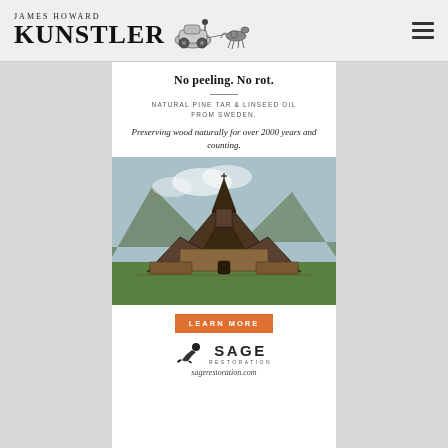JAMES HOWARD KUNSTLER
[Figure (illustration): Car being pulled by horse illustration next to Kunstler logo]
[Figure (infographic): Sage Restoration advertisement banner featuring a stave church photo with text: No peeling. No rot. Natural pine tar & linseed oil from Sweden. Preserving wood naturally for over 2000 years and counting. Learn More button. Sage Restoration logo and sagerestoration.com]
sagerestoration.com